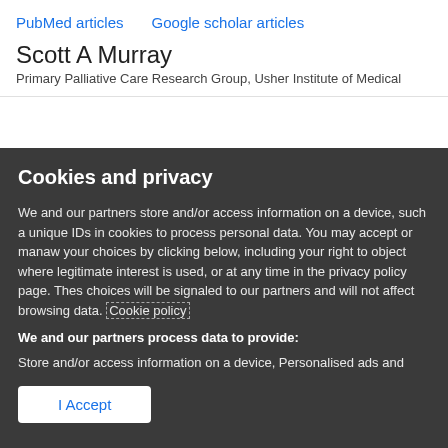PubMed articles   Google scholar articles
Scott A Murray
Primary Palliative Care Research Group, Usher Institute of Medical
Cookies and privacy
We and our partners store and/or access information on a device, such as unique IDs in cookies to process personal data. You may accept or manage your choices by clicking below, including your right to object where legitimate interest is used, or at any time in the privacy policy page. These choices will be signaled to our partners and will not affect browsing data. Cookie policy
We and our partners process data to provide:
Store and/or access information on a device, Personalised ads and content, ad and content measurement, audience insights and product development, Use precise geolocation data, Actively scan device characteristics for identification
List of Partners (vendors)
I Accept